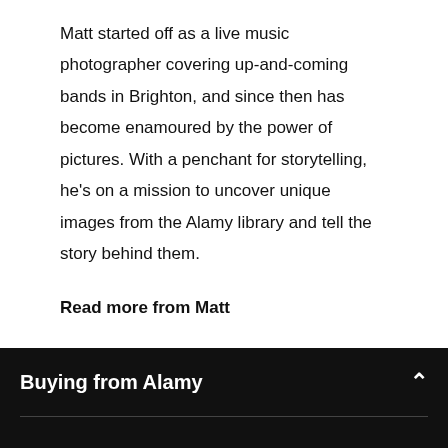Matt started off as a live music photographer covering up-and-coming bands in Brighton, and since then has become enamoured by the power of pictures. With a penchant for storytelling, he's on a mission to uncover unique images from the Alamy library and tell the story behind them.
Read more from Matt
Buying from Alamy